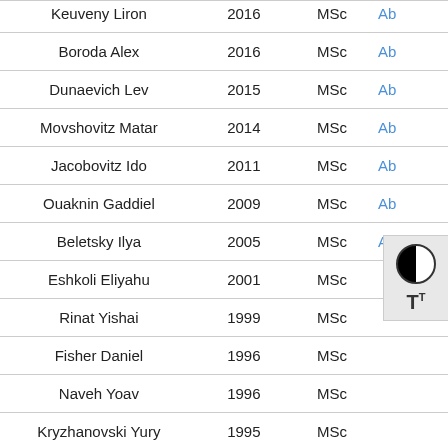| Name | Year | Degree | Abstract |
| --- | --- | --- | --- |
| Keuveny Liron | 2016 | MSc | Ab |
| Boroda Alex | 2016 | MSc | Ab |
| Dunaevich Lev | 2015 | MSc | Ab |
| Movshovitz Matar | 2014 | MSc | Ab |
| Jacobovitz Ido | 2011 | MSc | Ab |
| Ouaknin Gaddiel | 2009 | MSc | Ab |
| Beletsky Ilya | 2005 | MSc | A |
| Eshkoli Eliyahu | 2001 | MSc |  |
| Rinat Yishai | 1999 | MSc |  |
| Fisher Daniel | 1996 | MSc |  |
| Naveh Yoav | 1996 | MSc |  |
| Kryzhanovski Yury | 1995 | MSc |  |
| Ben-Tal Alona | 1994 | MSc |  |